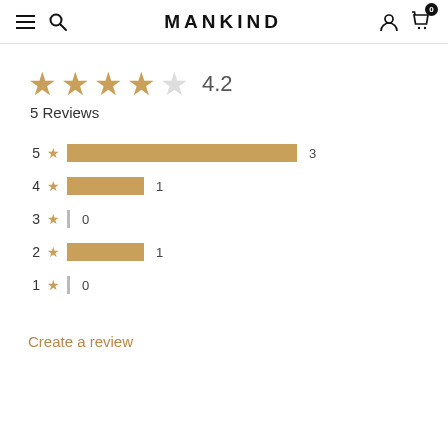MANKIND
[Figure (bar-chart): Star rating distribution]
4.2
5 Reviews
Create a review